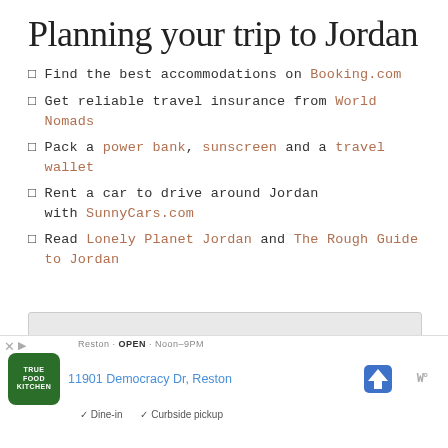Planning your trip to Jordan
⬜ Find the best accommodations on Booking.com
⬜ Get reliable travel insurance from World Nomads
⬜ Pack a power bank, sunscreen and a travel wallet
⬜ Rent a car to drive around Jordan with SunnyCars.com
⬜ Read Lonely Planet Jordan and The Rough Guide to Jordan
[Figure (screenshot): Google Maps ad banner for True Food Kitchen at 11901 Democracy Dr, Reston with navigation and Waze icons, and options for Dine-in and Curbside pickup]
Reston · Open · Noon–9PM